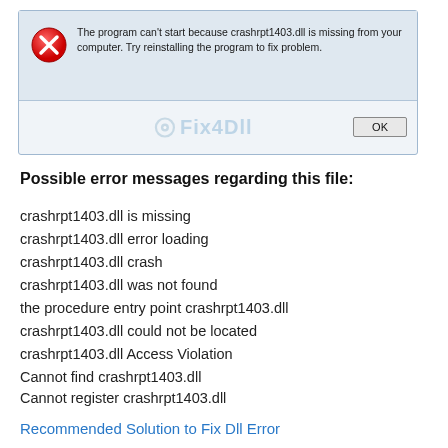[Figure (screenshot): Windows error dialog box showing a red X error icon and the message: 'The program can't start because crashrpt1403.dll is missing from your computer. Try reinstalling the program to fix problem.' with an OK button and a Fix4Dll watermark.]
Possible error messages regarding this file:
crashrpt1403.dll is missing
crashrpt1403.dll error loading
crashrpt1403.dll crash
crashrpt1403.dll was not found
the procedure entry point crashrpt1403.dll
crashrpt1403.dll could not be located
crashrpt1403.dll Access Violation
Cannot find crashrpt1403.dll
Cannot register crashrpt1403.dll
Recommended Solution to Fix Dll Error